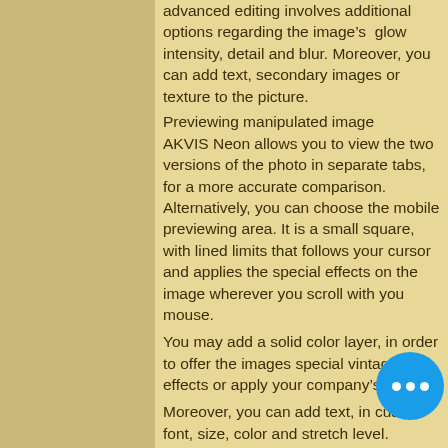advanced editing involves additional options regarding the image’s glow intensity, detail and blur. Moreover, you can add text, secondary images or texture to the picture.
Previewing manipulated image
AKVIS Neon allows you to view the two versions of the photo in separate tabs, for a more accurate comparison. Alternatively, you can choose the mobile previewing area. It is a small square, with lined limits that follows your cursor and applies the special effects on the image wherever you scroll with you mouse.
You may add a solid color layer, in order to offer the images special vintage effects or apply your company’s logo.
Moreover, you can add text, in custom font, size, color and stretch level.
If you wish to process several images at the same time, all you need to do is prepare a template, then select the entire directory you wish altered. The software can apply the